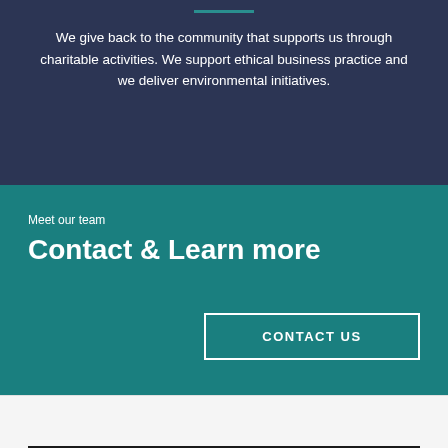We give back to the community that supports us through charitable activities. We support ethical business practice and we deliver environmental initiatives.
Meet our team
Contact & Learn more
CONTACT US